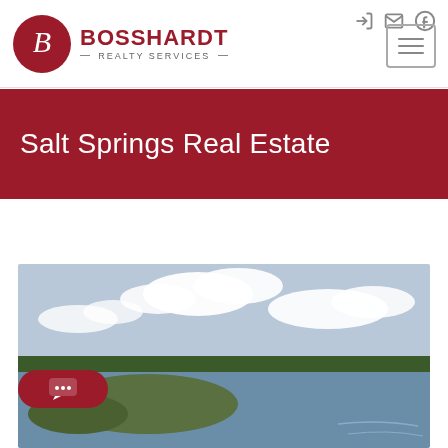[Figure (logo): Bosshardt Realty Services logo with red circle containing a stylized B and text BOSSHARDT REALTY SERVICES]
Salt Springs Real Estate
[Figure (photo): Aerial photograph of a river or lake waterway with green marshland, trees in the background, and a blue cloudy sky]